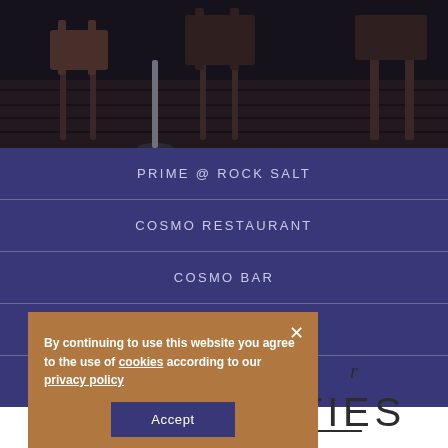[Figure (photo): Dark restaurant interior with wooden chairs and dark wood flooring, shot from low angle]
PRIME @ ROCK SALT
COSMO RESTAURANT
COSMO BAR
REFLECTIONS
HANSHA
By continuing to use this website you agree to the use of cookies according to our privacy policy
Accept